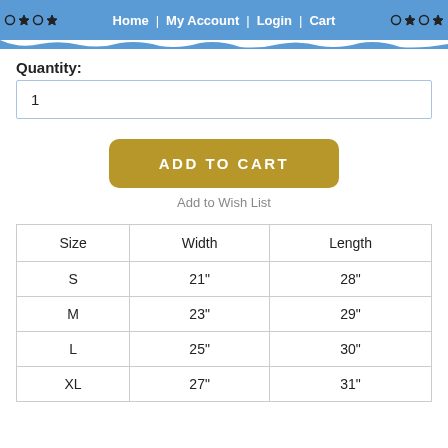Home | My Account | Login | Cart
Quantity:
1
ADD TO CART
Add to Wish List
| Size | Width | Length |
| --- | --- | --- |
| S | 21" | 28" |
| M | 23" | 29" |
| L | 25" | 30" |
| XL | 27" | 31" |